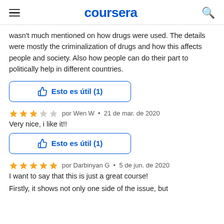coursera
wasn't much mentioned on how drugs were used. The details were mostly the criminalization of drugs and how this affects people and society. Also how people can do their part to politically help in different countries.
[Figure (other): Button: thumbs up icon with text 'Esto es útil (1)']
★★★☆☆ por Wen W • 21 de mar. de 2020
Very nice, i like it!!
[Figure (other): Button: thumbs up icon with text 'Esto es útil (1)']
★★★★★ por Darbinyan G • 5 de jun. de 2020
I want to say that this is just a great course!
Firstly, it shows not only one side of the issue, but